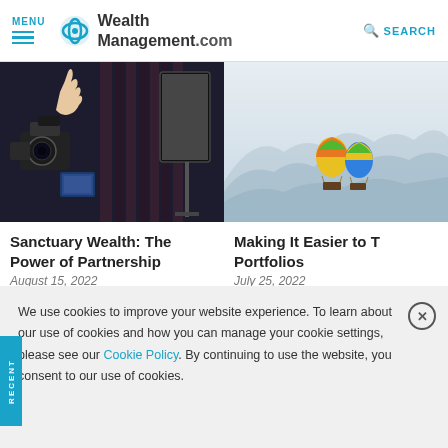MENU | WealthManagement.com | SEARCH
[Figure (photo): Photography/videography studio setup with camera equipment, studio lights, and a person raising their hand, dark background]
[Figure (photo): Two colorful hot air balloons floating in a misty mountainous landscape with light grey fog and mountain silhouettes]
Sanctuary Wealth: The Power of Partnership
August 15, 2022
Making It Easier to T Portfolios
July 25, 2022
We use cookies to improve your website experience. To learn about our use of cookies and how you can manage your cookie settings, please see our Cookie Policy. By continuing to use the website, you consent to our use of cookies.